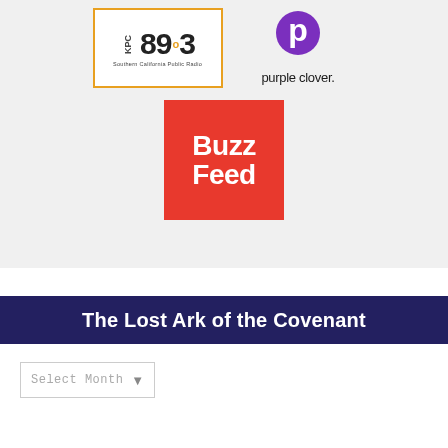[Figure (logo): KPCC 89.3 Southern California Public Radio logo with orange border]
[Figure (logo): Purple Clover logo with purple P icon and text 'purple clover.']
[Figure (logo): BuzzFeed logo - white bold text on red square background]
The Lost Ark of the Covenant
Select Month